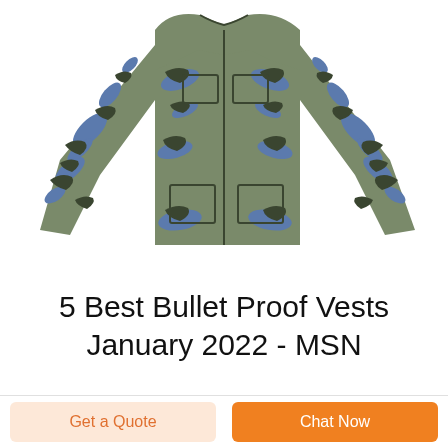[Figure (photo): A camouflage military-style jacket with blue and olive green tiger stripe pattern, laid flat with sleeves spread out, viewed from the front on a white background.]
5 Best Bullet Proof Vests January 2022 - MSN
Get a Quote
Chat Now